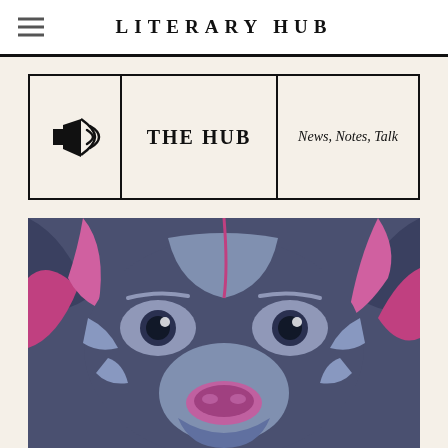LITERARY HUB
[Figure (logo): The Hub banner with megaphone icon, bold text THE HUB, and italic subtitle News, Notes, Talk]
[Figure (illustration): Stylized pop-art illustration of a dog (pit bull type) face in dark navy blue and pink/magenta color palette, close-up view showing eyes, snout, and ears]